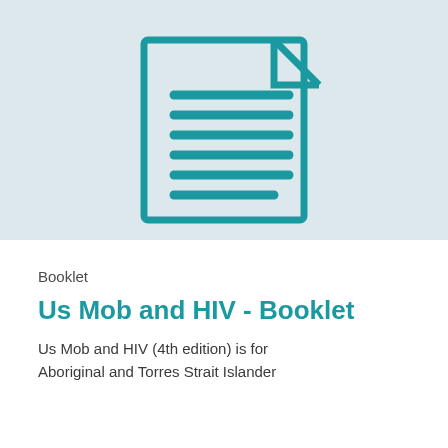[Figure (illustration): A teal outline icon of a document/page with horizontal lines representing text, on a light blue-grey background.]
Booklet
Us Mob and HIV - Booklet
Us Mob and HIV (4th edition) is for Aboriginal and Torres Strait Islander